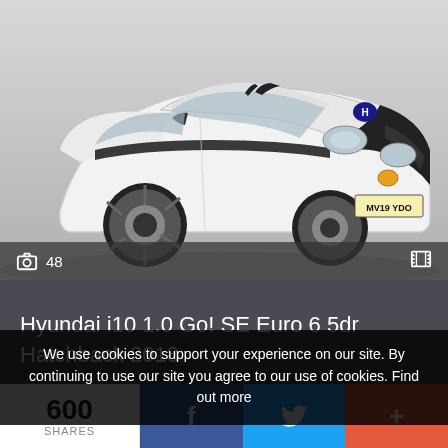[Figure (photo): White Hyundai i10 hatchback car with black racing stripe, photographed in studio, registration plate MV19 YDO]
48
Hyundai i10 1.0 Go! SE Euro 6 5dr Hatchback 2018
SAT NAV, DAB, BLUETOOTH, A/C
We use cookies to support your experience on our site. By continuing to use our site you agree to our use of cookies. Find out more
600 SHARES
f
t (Twitter bird icon)
+